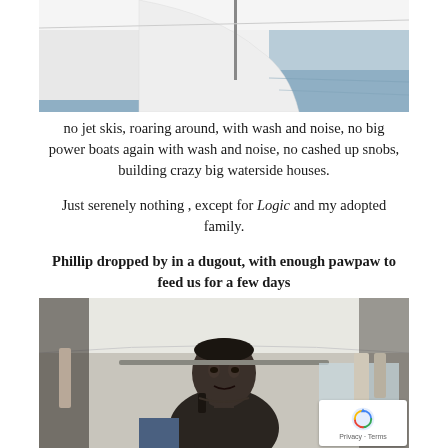[Figure (photo): Partial view of a white sailboat hull and deck with water visible in the background, cropped at top of page]
no jet skis, roaring around, with wash and noise, no big power boats again with wash and noise, no cashed up snobs, building crazy big waterside houses.
Just serenely nothing , except for Logic and my adopted family.
Phillip dropped by in a dugout, with enough pawpaw to feed us for a few days
[Figure (photo): An elderly dark-skinned man standing inside a boat cabin, holding something, with white surfaces and hanging clothes visible behind him]